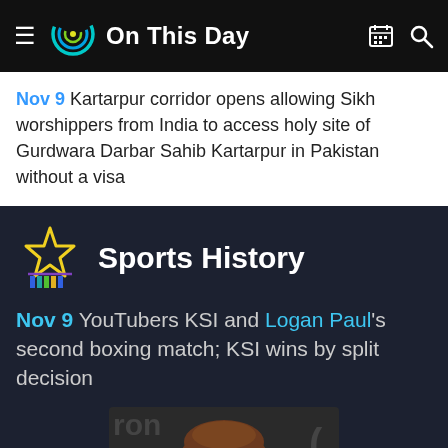On This Day
Nov 9 Kartarpur corridor opens allowing Sikh worshippers from India to access holy site of Gurdwara Darbar Sahib Kartarpur in Pakistan without a visa
Sports History
Nov 9 YouTubers KSI and Logan Paul's second boxing match; KSI wins by split decision
[Figure (photo): Photo of a young man with brown curly hair, partial crop, dark background with partial text 'ron' visible]